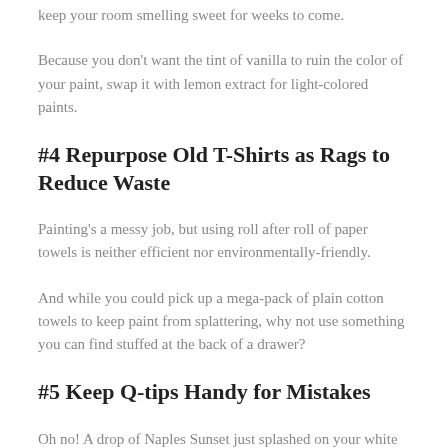keep your room smelling sweet for weeks to come.
Because you don't want the tint of vanilla to ruin the color of your paint, swap it with lemon extract for light-colored paints.
#4 Repurpose Old T-Shirts as Rags to Reduce Waste
Painting's a messy job, but using roll after roll of paper towels is neither efficient nor environmentally-friendly.
And while you could pick up a mega-pack of plain cotton towels to keep paint from splattering, why not use something you can find stuffed at the back of a drawer?
#5 Keep Q-tips Handy for Mistakes
Oh no! A drop of Naples Sunset just splashed on your white window frame. You've only got a few minutes to clean up the mess before your mistake is sealed for eternity.